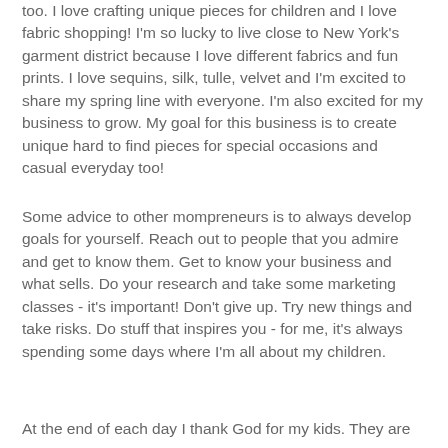too.  I love crafting unique pieces for children and I love fabric shopping!  I'm so lucky to live close to New York's garment district because I love different fabrics and fun prints.  I love sequins, silk, tulle, velvet and I'm excited to share my spring line with everyone.  I'm also excited for my business to grow.  My goal for this business is to create unique hard to find pieces for special occasions and casual everyday too!
Some advice to other mompreneurs is to always develop goals for yourself.  Reach out to people that you admire and get to know them.  Get to know your business and what sells.  Do your research and take some marketing classes - it's important!  Don't give up.  Try new things and take risks.  Do stuff that inspires you - for me, it's always spending some days where I'm all about my children.
At the end of each day I thank God for my kids.  They are